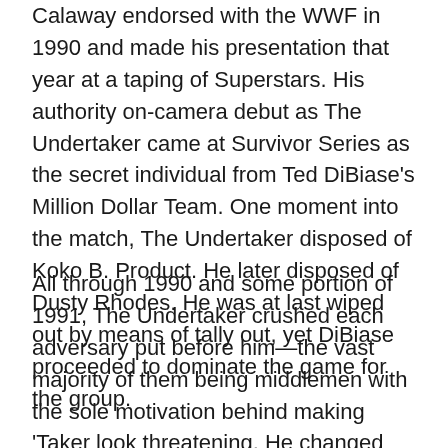Calaway endorsed with the WWF in 1990 and made his presentation that year at a taping of Superstars. His authority on-camera debut as The Undertaker came at Survivor Series as the secret individual from Ted DiBiase's Million Dollar Team. One moment into the match, The Undertaker disposed of Koko B. Product. He later disposed of Dusty Rhodes. He was at last wiped out by means of tally out, yet DiBiase proceeded to dominate the game for the group.
All through 1990 and some portion of 1991, The Undertaker crushed each adversary put before him—the vast majority of them being middlemen with the sole motivation behind making 'Taker look threatening. He changed administrators from Brother Love to Paul Bearer in 1991. Conveyor would convey a urn with them and guarantee the item could reestablish The Undertaker's force in case he were